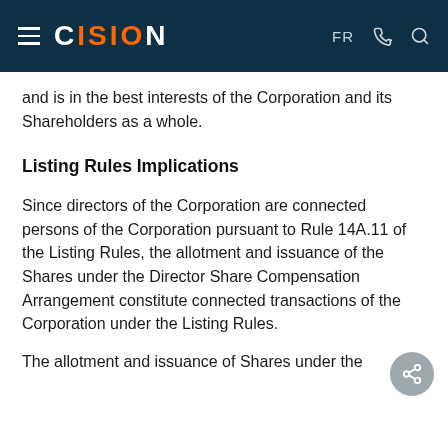CISION | FR
and is in the best interests of the Corporation and its Shareholders as a whole.
Listing Rules Implications
Since directors of the Corporation are connected persons of the Corporation pursuant to Rule 14A.11 of the Listing Rules, the allotment and issuance of the Shares under the Director Share Compensation Arrangement constitute connected transactions of the Corporation under the Listing Rules.
The allotment and issuance of Shares under the